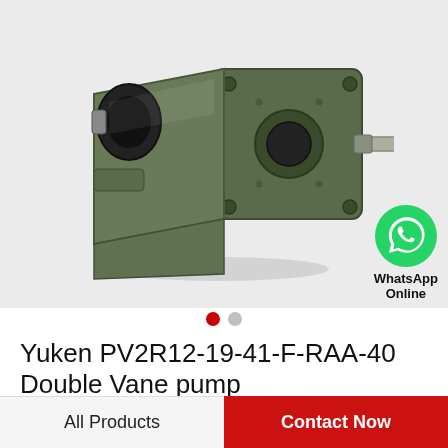[Figure (photo): Industrial hydraulic double vane pump (Yuken PV2R12 series) in olive/dark green finish, shown at an angle with mounting flange plate and output shaft visible. WhatsApp Online icon overlay in bottom right of image.]
WhatsApp Online
Yuken PV2R12-19-41-F-RAA-40 Double Vane pump
All Products  Contact Now